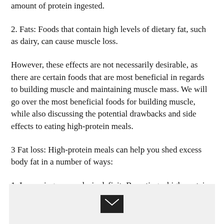amount of protein ingested.
2. Fats: Foods that contain high levels of dietary fat, such as dairy, can cause muscle loss.
However, these effects are not necessarily desirable, as there are certain foods that are most beneficial in regards to building muscle and maintaining muscle mass. We will go over the most beneficial foods for building muscle, while also discussing the potential drawbacks and side effects to eating high-protein meals.
3 Fat loss: High-protein meals can help you shed excess body fat in a number of ways:
1. Increasing your calorie deficit: By eating a high-protein meal after you have a low-